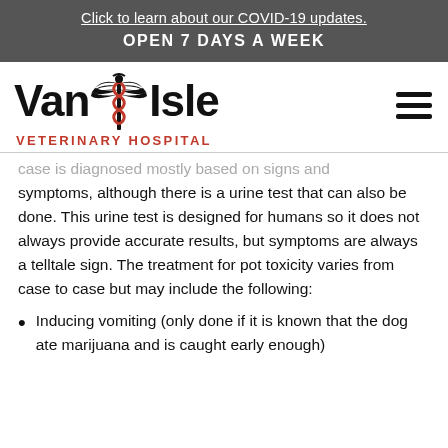Click to learn about our COVID-19 updates.
OPEN 7 DAYS A WEEK
[Figure (logo): Van Isle Veterinary Hospital logo with caduceus/winged medical symbol in black and red]
...case is diagnosed mostly based on signs and symptoms, although there is a urine test that can also be done. This urine test is designed for humans so it does not always provide accurate results, but symptoms are always a telltale sign. The treatment for pot toxicity varies from case to case but may include the following:
Inducing vomiting (only done if it is known that the dog ate marijuana and is caught early enough)